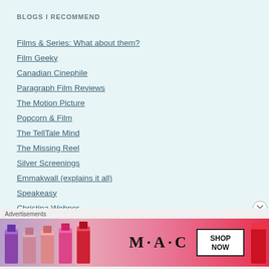BLOGS I RECOMMEND
Films & Series: What about them?
Film Geeky
Canadian Cinephile
Paragraph Film Reviews
The Motion Picture
Popcorn & Film
The TellTale Mind
The Missing Reel
Silver Screenings
Emmakwall (explains it all)
Speakeasy
Christina Wehner
Jordan and Eddie (The Movie Guys)
Advertisements
[Figure (photo): MAC Cosmetics advertisement banner showing lipsticks in purple, pink and red colors with MAC logo and SHOP NOW button]